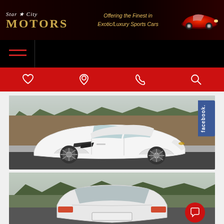Star City Motors — Offering the Finest in Exotic/Luxury Sports Cars
[Figure (screenshot): Website header with Star City Motors logo, tagline, and red sports car image]
[Figure (photo): White Corvette Stingray sports car photographed from the side in a parking lot]
[Figure (photo): Rear view of white Corvette Stingray sports car with trees in background]